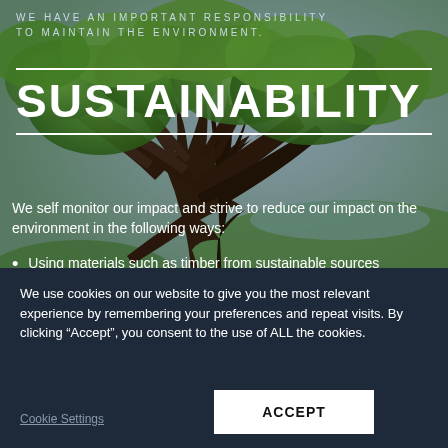[Figure (photo): Large green oak tree with spreading branches photographed from below against a sky background, used as full-bleed background image for a sustainability page]
WE HAVE AN IMPORTANT RESPONSIBILITY TO MAINTAIN THE ENVIRONMENT.
SUSTAINABILITY
We self monitor our impact and strive to reduce our impact on the environment in the following ways:
Using materials such as timber from sustainable sources
Using local materials and services where possible
Reduce emissions from our works
We use cookies on our website to give you the most relevant experience by remembering your preferences and repeat visits. By clicking “Accept”, you consent to the use of ALL the cookies.